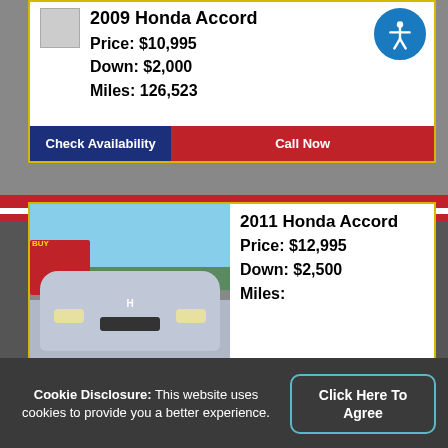2009 Honda Accord
Price: $10,995
Down: $2,000
Miles: 126,523
Check Availability
Call Now
[Figure (photo): 2011 Honda Accord silver sedan front view at car dealership with red building in background]
2011 Honda Accord
Price: $12,995
Down: $2,500
Miles:
Cookie Disclosure: This website uses cookies to provide you a better experience.
Click Here To Agree